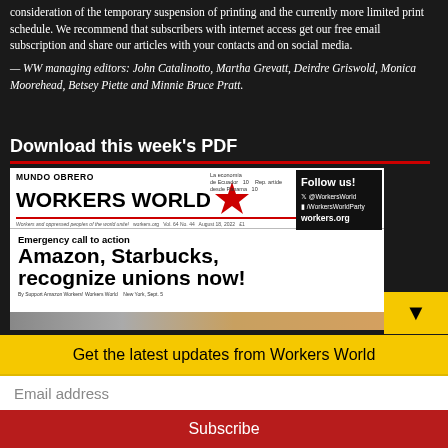consideration of the temporary suspension of printing and the currently more limited print schedule. We recommend that subscribers with internet access get our free email subscription and share our articles with your contacts and on social media.
— WW managing editors: John Catalinotto, Martha Grevatt, Deirdre Griswold, Monica Moorehead, Betsey Piette and Minnie Bruce Pratt.
Download this week's PDF
[Figure (screenshot): Screenshot of Workers World / Mundo Obrero newspaper front page with headline 'Amazon, Starbucks, recognize unions now!' and social media follow box]
Get the latest updates from Workers World
Email address
Subscribe